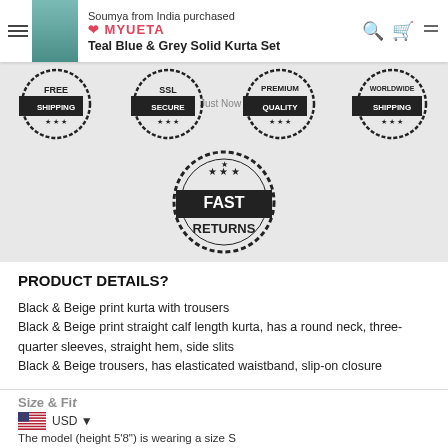[Figure (screenshot): E-commerce website header notification: 'Soumya from India purchased Teal Blue & Grey Solid Kurta Set' with product thumbnail, MYUETA logo, search and cart icons, hamburger menu]
[Figure (infographic): Four trust badge stamps: FREE SHIPPING, SSL SECURE, PREMIUM QUALITY, WORLDWIDE SHIPPING, plus a large FAST RETURNS stamp in center]
PRODUCT DETAILS?
Black & Beige print kurta with trousers
Black & Beige print straight calf length kurta, has a round neck, three-quarter sleeves, straight hem, side slits
Black & Beige trousers, has elasticated waistband, slip-on closure
Size & Fit
USD
The model (height 5'8") is wearing a size S